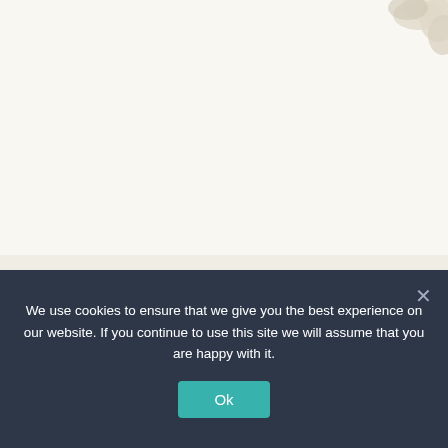[Figure (photo): Partial view of decorative floral/botanical element in the top right corner of the page, cream and white tones]
Karen was awesome in how she did an audit of my FB campaign and figured out the solution to my problem in minutes!
[Figure (illustration): Handwritten cursive signature reading 'Mike Saunders']
We use cookies to ensure that we give you the best experience on our website. If you continue to use this site we will assume that you are happy with it.